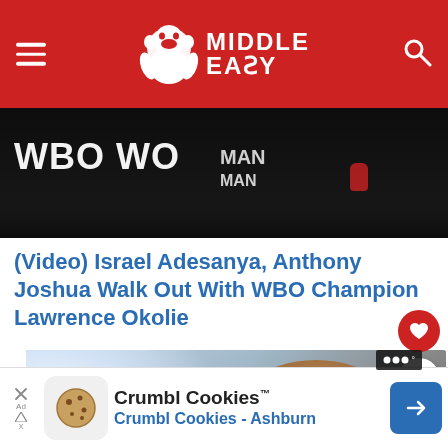Middle Easy
[Figure (screenshot): Dark banner image showing WBO WO text and a figure with MAN text, related to Lawrence Okolie boxing walkout]
(Video) Israel Adesanya, Anthony Joshua Walk Out With WBO Champion Lawrence Okolie
[Figure (screenshot): Close-up video frame of a bald man's face with bright light flare on left side. Overlay shows WHAT'S NEXT arrow with 'Wounded' Tyson Fury... thumbnail]
[Figure (screenshot): Advertisement banner for Crumbl Cookies - Ashburn with cookie icon and navigation arrow]